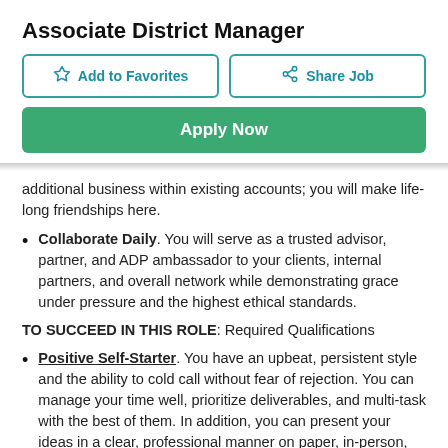Associate District Manager
[Figure (other): Add to Favorites button (outlined with teal border, star icon) and Share Job button (outlined with teal border, share icon)]
[Figure (other): Apply Now green button]
additional business within existing accounts; you will make life-long friendships here.
Collaborate Daily. You will serve as a trusted advisor, partner, and ADP ambassador to your clients, internal partners, and overall network while demonstrating grace under pressure and the highest ethical standards.
TO SUCCEED IN THIS ROLE: Required Qualifications
Positive Self-Starter. You have an upbeat, persistent style and the ability to cold call without fear of rejection. You can manage your time well, prioritize deliverables, and multi-task with the best of them. In addition, you can present your ideas in a clear, professional manner on paper, in-person, and over the phone.
Strategic Closer. You have an established network and